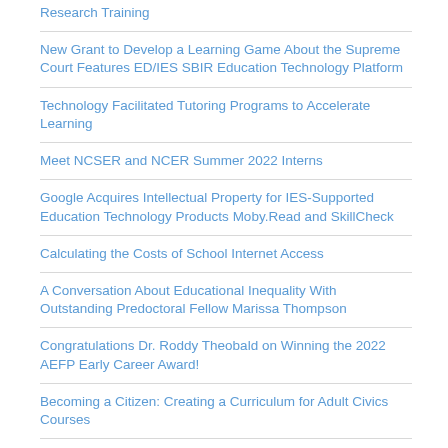Research Training
New Grant to Develop a Learning Game About the Supreme Court Features ED/IES SBIR Education Technology Platform
Technology Facilitated Tutoring Programs to Accelerate Learning
Meet NCSER and NCER Summer 2022 Interns
Google Acquires Intellectual Property for IES-Supported Education Technology Products Moby.Read and SkillCheck
Calculating the Costs of School Internet Access
A Conversation About Educational Inequality With Outstanding Predoctoral Fellow Marissa Thompson
Congratulations Dr. Roddy Theobald on Winning the 2022 AEFP Early Career Award!
Becoming a Citizen: Creating a Curriculum for Adult Civics Courses
LGBTQ+ Education Research: Why I'm Proud to be a Part of It